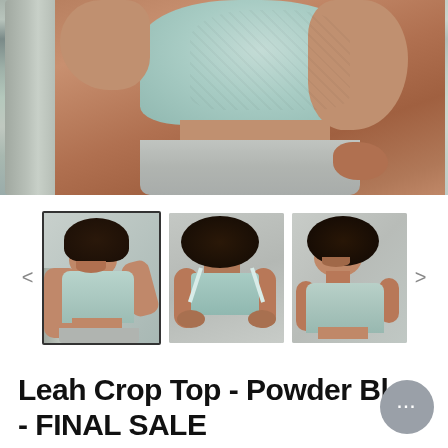[Figure (photo): Close-up photo of a plus-size Black woman's torso wearing a mint/light blue seamless crop top sports bra and grey high-waisted leggings, posed with one hand behind head and one on hip, with a concrete pillar in the background]
[Figure (photo): Three thumbnail images of the same model wearing the Leah Crop Top in Powder Blue: (1) front view smiling, (2) back view showing X-cross straps, (3) three-quarter front view]
Leah Crop Top - Powder Blue - FINAL SALE